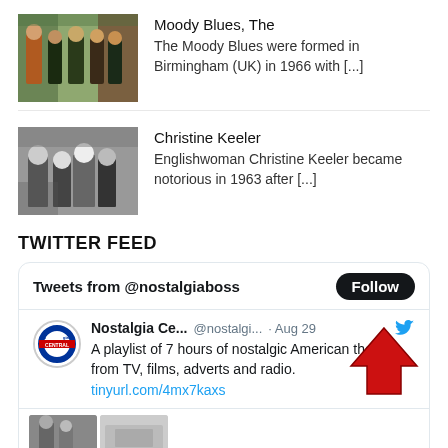[Figure (photo): Color photo of The Moody Blues band members]
Moody Blues, The
The Moody Blues were formed in Birmingham (UK) in 1966 with [...]
[Figure (photo): Black and white photo related to Christine Keeler]
Christine Keeler
Englishwoman Christine Keeler became notorious in 1963 after [...]
TWITTER FEED
Tweets from @nostalgiaboss
Nostalgia Ce... @nostalgi... · Aug 29
A playlist of 7 hours of nostalgic American themes from TV, films, adverts and radio.
tinyurl.com/4mx7kaxs